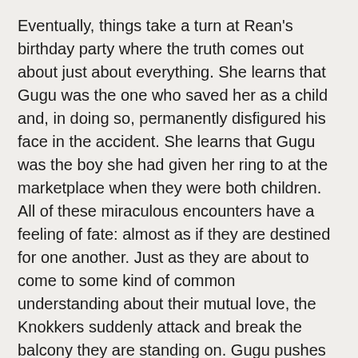Eventually, things take a turn at Rean's birthday party where the truth comes out about just about everything. She learns that Gugu was the one who saved her as a child and, in doing so, permanently disfigured his face in the accident. She learns that Gugu was the boy she had given her ring to at the marketplace when they were both children. All of these miraculous encounters have a feeling of fate: almost as if they are destined for one another. Just as they are about to come to some kind of common understanding about their mutual love, the Knokkers suddenly attack and break the balcony they are standing on. Gugu pushes Rean to safety and we end with Gugu literally hanging from the cliff, seemingly about to fall to his death on the rocks below.
I think we are well and truly in the final stage [Light / Dark toggle] Arc now, with everything out in the open and the